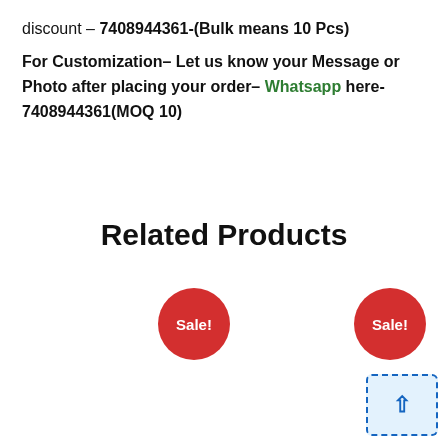discount – 7408944361-(Bulk means 10 Pcs)
For Customization– Let us know your Message or Photo after placing your order– Whatsapp here- 7408944361(MOQ 10)
Related Products
[Figure (other): Red circular Sale! badge for a related product listing]
[Figure (other): Red circular Sale! badge for a related product listing]
[Figure (screenshot): Scroll-to-top button with upward arrow, blue dashed border, light blue background]